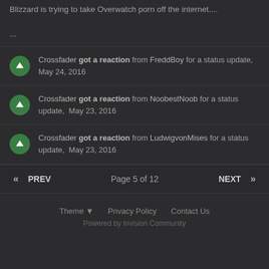Blizzard is trying to take Overwatch porn off the internet.... ...
Crossfader got a reaction from FreddBoy for a status update, May 24, 2016
Crossfader got a reaction from NoobestNoob for a status update, May 23, 2016
Crossfader got a reaction from LudwigvonMises for a status update, May 23, 2016
« PREV   Page 5 of 12   NEXT »
Theme ▼   Privacy Policy   Contact Us   Powered by Invision Community